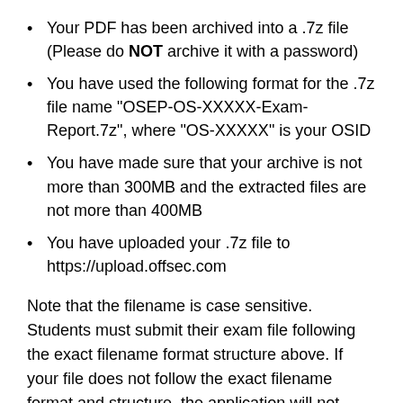Your PDF has been archived into a .7z file (Please do NOT archive it with a password)
You have used the following format for the .7z file name "OSEP-OS-XXXXX-Exam-Report.7z", where "OS-XXXXX" is your OSID
You have made sure that your archive is not more than 300MB and the extracted files are not more than 400MB
You have uploaded your .7z file to https://upload.offsec.com
Note that the filename is case sensitive. Students must submit their exam file following the exact filename format structure above. If your file does not follow the exact filename format and structure, the application will not accept it.